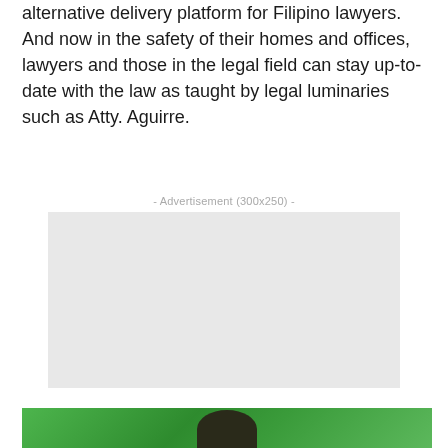alternative delivery platform for Filipino lawyers. And now in the safety of their homes and offices, lawyers and those in the legal field can stay up-to-date with the law as taught by legal luminaries such as Atty. Aguirre.
- Advertisement (300x250) -
[Figure (other): Gray advertisement placeholder box (300x250)]
[Figure (photo): Photo of a person against a green background, partially visible at the bottom of the page]